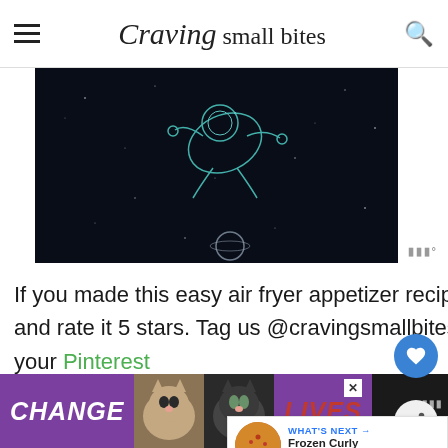Craving small bites
[Figure (illustration): Dark space-themed illustration showing an astronaut figure floating in a starry black background with a planet or moon below]
If you made this easy air fryer appetizer recipe, don't forget to leave me feedback and rate it 5 stars. Tag us @cravingsmallbites on Instagram and save away to your Pinterest
[Figure (infographic): What's Next panel showing Frozen Curly Fries in Air... with a circular food image thumbnail]
[Figure (photo): Advertisement banner with cats and text CHANGE LIVES on dark background with purple accents]